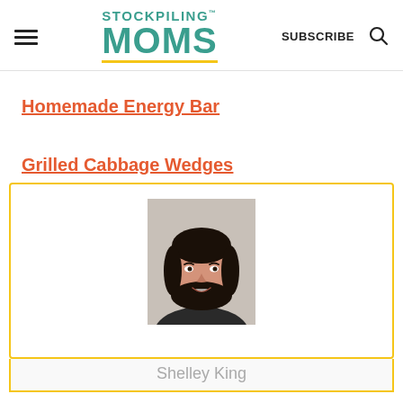STOCKPILING MOMS — SUBSCRIBE
Homemade Energy Bar
Grilled Cabbage Wedges
[Figure (photo): Headshot of Shelley King: woman with dark hair, smiling, against neutral background]
Shelley King